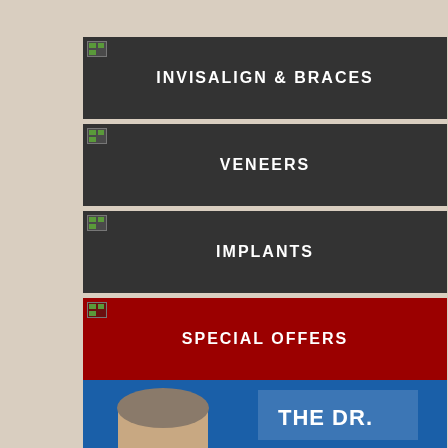INVISALIGN & BRACES
VENEERS
IMPLANTS
SPECIAL OFFERS
PATIENT REVIEWS
[Figure (photo): Partial image of a man's face next to 'THE DR.' text on a blue background]